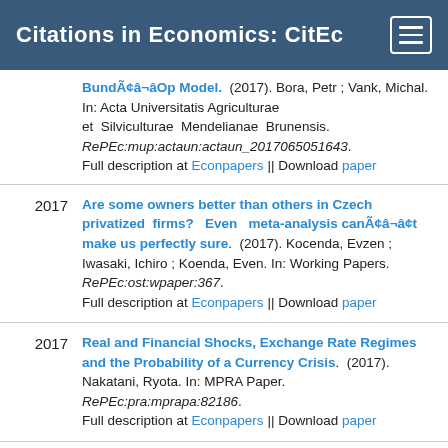Citations in Economics: CitEc
BundÃ¢â¬âOp Model. (2017). Bora, Petr ; Vank, Michal. In: Acta Universitatis Agriculturae et Silviculturae Mendelianae Brunensis. RePEc:mup:actaun:actaun_2017065051643. Full description at Econpapers || Download paper
2017 | Are some owners better than others in Czech privatized firms? Even meta-analysis canÃ¢â¬â¢t make us perfectly sure. (2017). Kocenda, Evzen ; Iwasaki, Ichiro ; Koenda, Even. In: Working Papers. RePEc:ost:wpaper:367. Full description at Econpapers || Download paper
2017 | Real and Financial Shocks, Exchange Rate Regimes and the Probability of a Currency Crisis. (2017). Nakatani, Ryota. In: MPRA Paper. RePEc:pra:mprapa:82186. Full description at Econpapers || Download paper